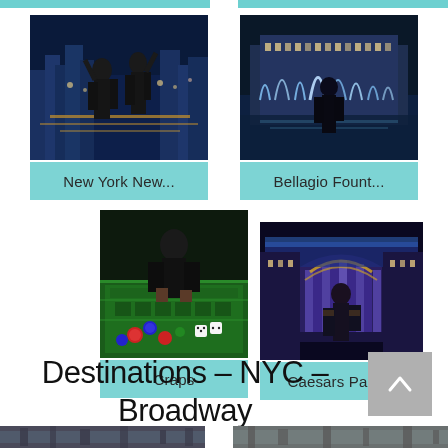[Figure (photo): Two people posing in front of New York New York casino at night with Las Vegas cityscape]
New York New...
[Figure (photo): Person posing in front of Bellagio fountains at night]
Bellagio Fount...
[Figure (photo): Person at craps table in casino with chips]
Craps
[Figure (photo): Woman posing in front of Caesars Palace at night with illuminated facade]
Caesars Palace
Destinations - NYC - Broadway
[Figure (photo): Partial view of NYC street scene at bottom left]
[Figure (photo): Partial view of Broadway scene at bottom right]